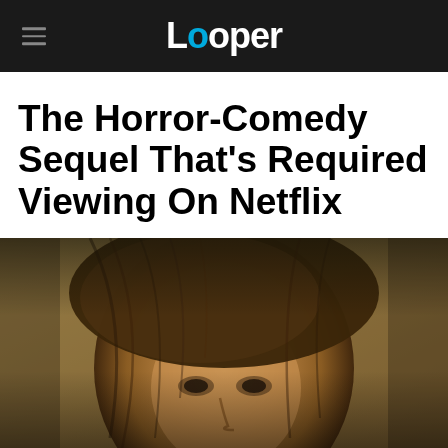Looper
The Horror-Comedy Sequel That's Required Viewing On Netflix
[Figure (photo): Close-up photo of a disheveled young man with long, messy brown hair partially covering his face, looking slightly downward with a serious expression, set against a blurred background]